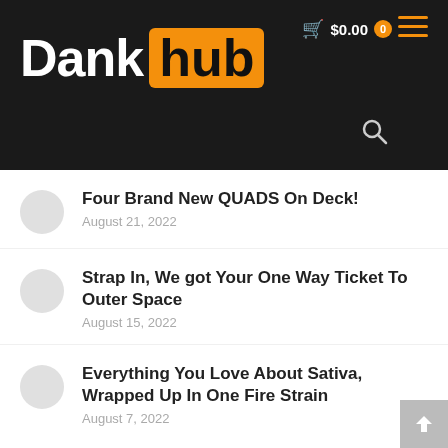Dank hub — $0.00 0
Four Brand New QUADS On Deck!
August 21, 2022
Strap In, We got Your One Way Ticket To Outer Space
August 15, 2022
Everything You Love About Sativa, Wrapped Up In One Fire Strain
August 7, 2022